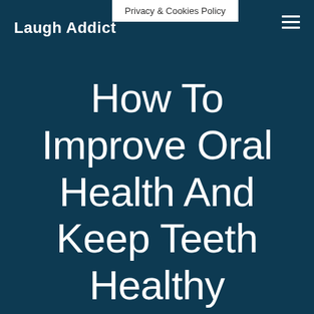Laugh Addict
Privacy & Cookies Policy
How To Improve Oral Health And Keep Teeth Healthy